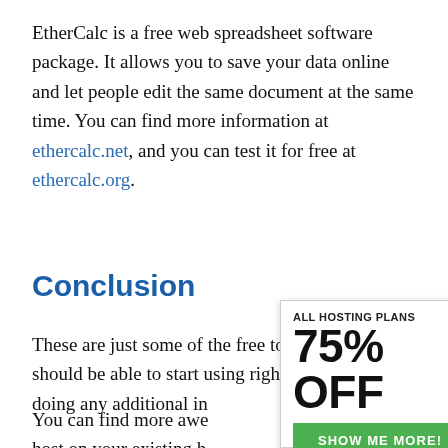EtherCalc is a free web spreadsheet software package. It allows you to save your data online and let people edit the same document at the same time. You can find more information at ethercalc.net, and you can test it for free at ethercalc.org.
Conclusion
These are just some of the free tools which you should be able to start using right away, without doing any additional in[stallation]
You can find more awe[some tools to] host on your existing h[osting]
[Figure (infographic): An advertisement overlay showing 'ALL HOSTING PLANS' with '75% OFF' in large bold text, an X close button, and a green 'SHOW ME MORE!' button.]